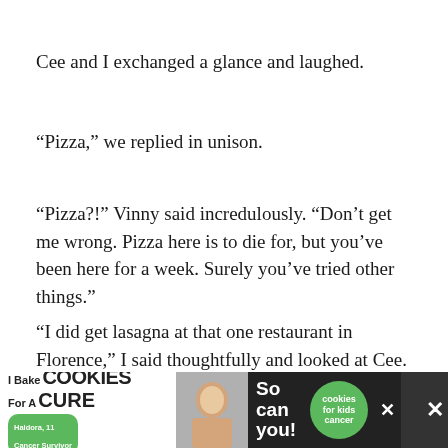Cee and I exchanged a glance and laughed.
“Pizza,” we replied in unison.
“Pizza?!” Vinny said incredulously. “Don’t get me wrong. Pizza here is to die for, but you’ve been here for a week. Surely you’ve tried other things.”
“I did get lasagna at that one restaurant in Florence,” I said thoughtfully and looked at Cee.
“And we split that pasta dish in Venice,” Cee added.
[Figure (other): Advertisement banner at the bottom: I Bake COOKIES For A CURE with Haldora, 11 Cancer Survivor badge, So can you! text, cookies for kids cancer logo, and close buttons]